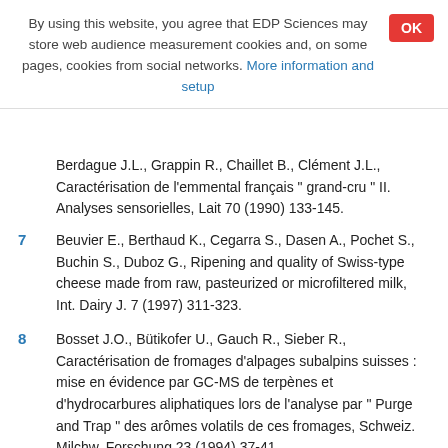By using this website, you agree that EDP Sciences may store web audience measurement cookies and, on some pages, cookies from social networks. More information and setup
Berdague J.L., Grappin R., Chaillet B., Clement J.L., Caractérisation de l'emmental français " grand-cru " II. Analyses sensorielles, Lait 70 (1990) 133-145.
7  Beuvier E., Berthaud K., Cegarra S., Dasen A., Pochet S., Buchin S., Duboz G., Ripening and quality of Swiss-type cheese made from raw, pasteurized or microfiltered milk, Int. Dairy J. 7 (1997) 311-323.
8  Bosset J.O., Bütikofer U., Gauch R., Sieber R., Caractérisation de fromages d'alpages subalpins suisses : mise en évidence par GC-MS de terpènes et d'hydrocarbures aliphatiques lors de l'analyse par " Purge and Trap " des arômes volatils de ces fromages, Schweiz. Milchw. Forschung 23 (1994) 37-41.